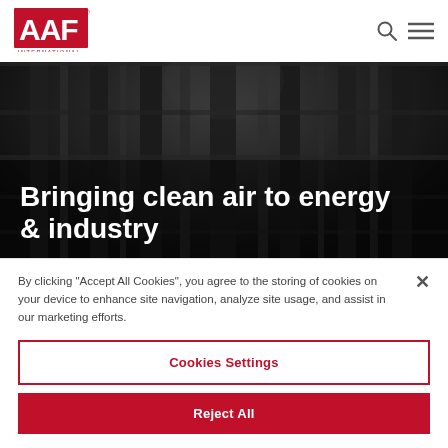[Figure (logo): AAF International red logo in top left header]
[Figure (photo): Dark industrial interior of a facility with metal ductwork/filter structures viewed from below looking up, used as hero banner background]
Bringing clean air to energy & industry
By clicking "Accept All Cookies", you agree to the storing of cookies on your device to enhance site navigation, analyze site usage, and assist in our marketing efforts.
Cookies Settings
Reject All